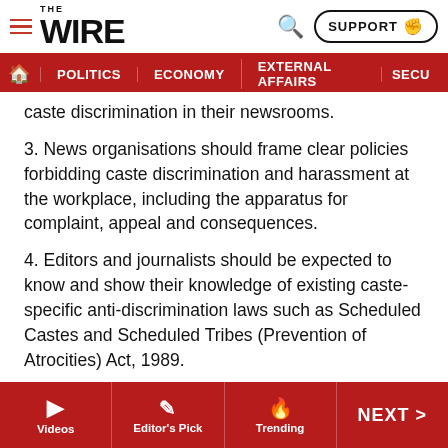THE WIRE — SUPPORT
POLITICS | ECONOMY | EXTERNAL AFFAIRS | SECU...
caste discrimination in their newsrooms.
3. News organisations should frame clear policies forbidding caste discrimination and harassment at the workplace, including the apparatus for complaint, appeal and consequences.
4. Editors and journalists should be expected to know and show their knowledge of existing caste-specific anti-discrimination laws such as Scheduled Castes and Scheduled Tribes (Prevention of Atrocities) Act, 1989.
Tejas Harad works at the Economic and Political Weekly. This article is a portion of a paper Harad wrote as fellow of
Videos | Editor's Pick | Trending | NEXT >